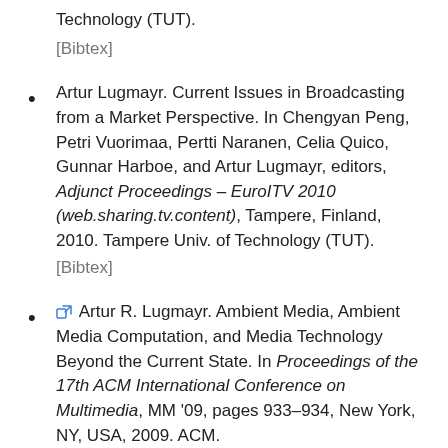Technology (TUT).
[Bibtex]
Artur Lugmayr. Current Issues in Broadcasting from a Market Perspective. In Chengyan Peng, Petri Vuorimaa, Pertti Naranen, Celia Quico, Gunnar Harboe, and Artur Lugmayr, editors, Adjunct Proceedings – EuroITV 2010 (web.sharing.tv.content), Tampere, Finland, 2010. Tampere Univ. of Technology (TUT).
[Bibtex]
Artur R. Lugmayr. Ambient Media, Ambient Media Computation, and Media Technology Beyond the Current State. In Proceedings of the 17th ACM International Conference on Multimedia, MM '09, pages 933–934, New York, NY, USA, 2009. ACM.